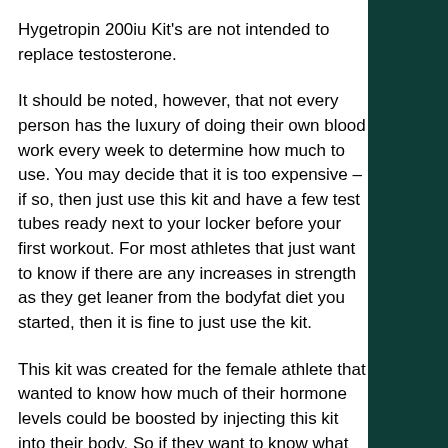Hygetropin 200iu Kit's are not intended to replace testosterone.
It should be noted, however, that not every person has the luxury of doing their own blood work every week to determine how much to use. You may decide that it is too expensive – if so, then just use this kit and have a few test tubes ready next to your locker before your first workout. For most athletes that just want to know if there are any increases in strength as they get leaner from the bodyfat diet you started, then it is fine to just use the kit.
This kit was created for the female athlete that wanted to know how much of their hormone levels could be boosted by injecting this kit into their body. So if they want to know what their hormones are doing to them, it is fine to take a blood test. Just